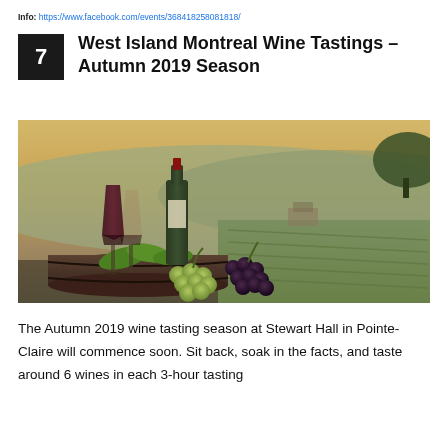Info: https://www.facebook.com/events/368418258081818/
7 West Island Montreal Wine Tastings – Autumn 2019 Season
[Figure (photo): Wine bottle and glasses with red wine on a barrel, surrounded by green and dark grapes and leaves, with a vineyard and hills in the background at golden hour.]
The Autumn 2019 wine tasting season at Stewart Hall in Pointe-Claire will commence soon. Sit back, soak in the facts, and taste around 6 wines in each 3-hour tasting